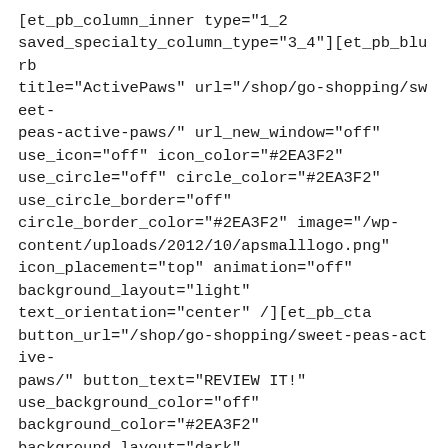[et_pb_column_inner type="1_2" saved_specialty_column_type="3_4"][et_pb_blurb title="ActivePaws" url="/shop/go-shopping/sweet-peas-active-paws/" url_new_window="off" use_icon="off" icon_color="#2EA3F2" use_circle="off" circle_color="#2EA3F2" use_circle_border="off" circle_border_color="#2EA3F2" image="/wp-content/uploads/2012/10/apsmalllogo.png" icon_placement="top" animation="off" background_layout="light" text_orientation="center" /][et_pb_cta button_url="/shop/go-shopping/sweet-peas-active-paws/" button_text="REVIEW IT!" use_background_color="off" background_color="#2EA3F2" background_layout="dark" text_orientation="center" module_class="active-callout" /][/et_pb_column_inner]